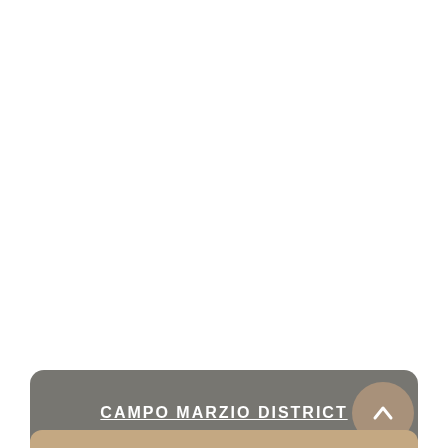CAMPO MARZIO DISTRICT
[Figure (other): Up arrow icon in a tan/brown circle button on the right side of the gray navigation bar]